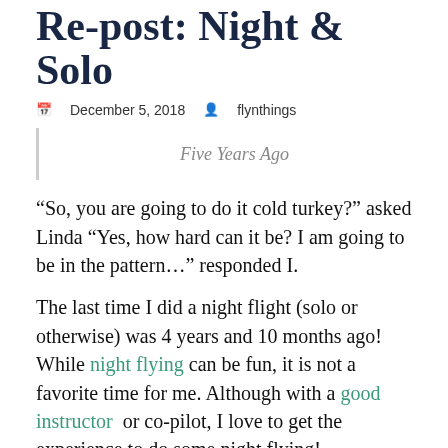Re-post: Night & Solo
December 5, 2018   flynthings
Five Years Ago
“So, you are going to do it cold turkey?” asked Linda “Yes, how hard can it be? I am going to be in the pattern…” responded I.
The last time I did a night flight (solo or otherwise) was 4 years and 10 months ago! While night flying can be fun, it is not a favorite time for me. Although with a good instructor  or co-pilot, I love to get the experience to do some night flying!